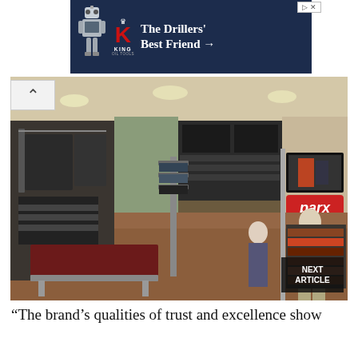[Figure (screenshot): Advertisement banner for King Oil Tools - 'The Drillers' Best Friend' with a robot mascot and red K logo on dark blue background]
[Figure (photo): Interior of a clothing retail store (Parx brand) showing mannequins dressed in plaid shirts, clothing racks, shelving, wooden floors, and display fixtures. A 'NEXT ARTICLE' button overlay appears in the bottom right.]
“The brand’s qualities of trust and excellence show